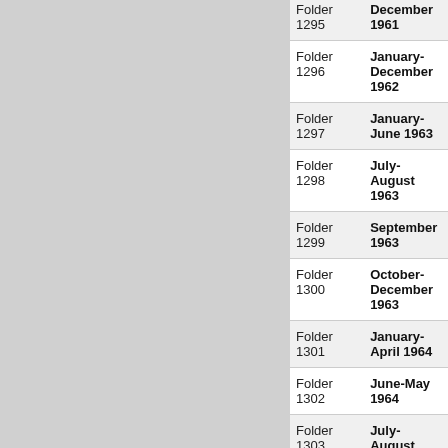| Folder | Date |
| --- | --- |
| Folder 1295 | December 1961 |
| Folder 1296 | January-December 1962 |
| Folder 1297 | January-June 1963 |
| Folder 1298 | July-August 1963 |
| Folder 1299 | September 1963 |
| Folder 1300 | October-December 1963 |
| Folder 1301 | January-April 1964 |
| Folder 1302 | June-May 1964 |
| Folder 1303 | July-August (partial) |